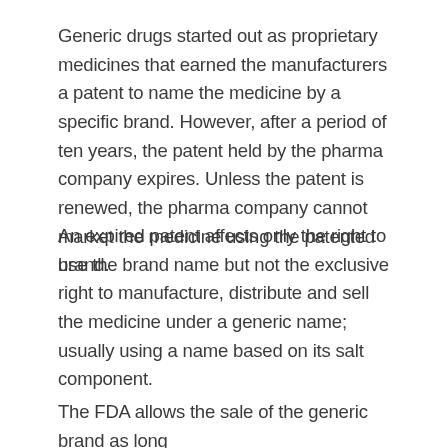Generic drugs started out as proprietary medicines that earned the manufacturers a patent to name the medicine by a specific brand. However, after a period of ten years, the patent held by the pharma company expires. Unless the patent is renewed, the pharma company cannot market the medicine using the patented brand.
An expired patent affects only the right to use the brand name but not the exclusive right to manufacture, distribute and sell the medicine under a generic name; usually using a name based on its salt component.
The FDA allows the sale of the generic brand as long